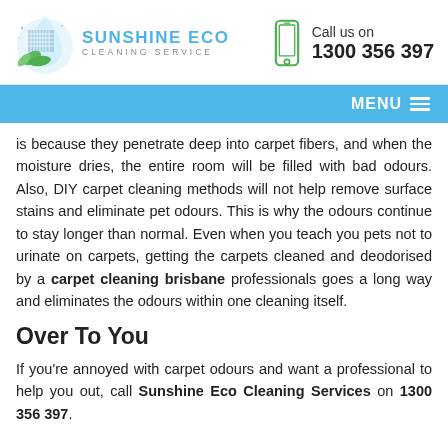[Figure (logo): Sunshine Eco Cleaning Service logo with building and green leaves on a water drop background]
Call us on
1300 356 397
MENU
is because they penetrate deep into carpet fibers, and when the moisture dries, the entire room will be filled with bad odours. Also, DIY carpet cleaning methods will not help remove surface stains and eliminate pet odours. This is why the odours continue to stay longer than normal. Even when you teach you pets not to urinate on carpets, getting the carpets cleaned and deodorised by a carpet cleaning brisbane professionals goes a long way and eliminates the odours within one cleaning itself.
Over To You
If you're annoyed with carpet odours and want a professional to help you out, call Sunshine Eco Cleaning Services on 1300 356 397.